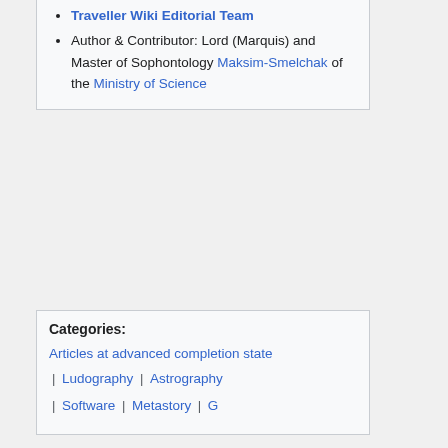Traveller Wiki Editorial Team
Author & Contributor: Lord (Marquis) and Master of Sophontology Maksim-Smelchak of the Ministry of Science
Categories: Articles at advanced completion state | Ludography | Astrography | Software | Metastory | G
This page was last edited on 24 January 2019, at 12:02.
Content is available under Traveller Copyright.
Privacy policy   About Traveller   Disclaimers